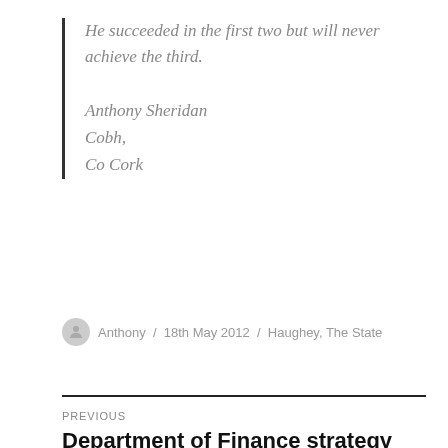He succeeded in the first two but will never achieve the third.
Anthony Sheridan
Cobh,
Co Cork
Anthony / 18th May 2012 / Haughey, The State
PREVIOUS
Department of Finance strategy just keeps on giving